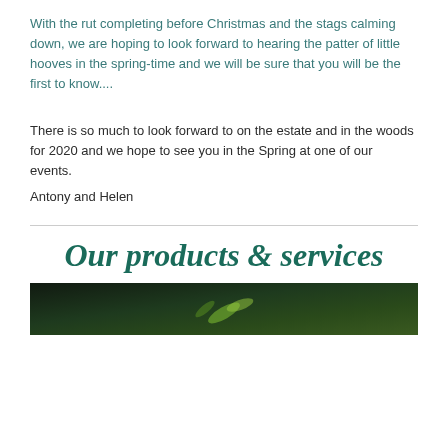With the rut completing before Christmas and the stags calming down, we are hoping to look forward to hearing the patter of little hooves in the spring-time and we will be sure that you will be the first to know....
There is so much to look forward to on the estate and in the woods for 2020 and we hope to see you in the Spring at one of our events.
Antony and Helen
Our products & services
[Figure (photo): Photo strip at bottom of page, dark background with green foliage accents]